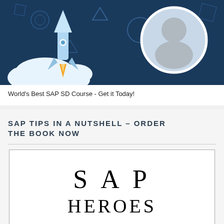[Figure (illustration): Dark blue banner with a rocket launching through clouds, geometric shapes and patterns in background, and a circular portrait photo of a man on the right side]
World's Best SAP SD Course - Get it Today!
SAP TIPS IN A NUTSHELL – ORDER THE BOOK NOW
[Figure (illustration): White book cover with large spaced serif text reading 'SAP HEROES']